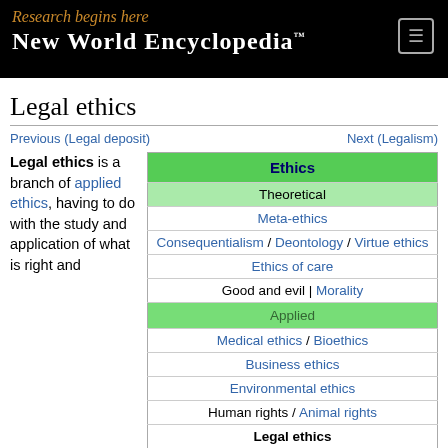Research begins here
New World Encyclopedia™
Legal ethics
Previous (Legal deposit)
Next (Legalism)
Legal ethics is a branch of applied ethics, having to do with the study and application of what is right and
| Ethics |
| --- |
| Theoretical |
| Meta-ethics |
| Consequentialism / Deontology / Virtue ethics |
| Ethics of care |
| Good and evil | Morality |
| Applied |
| Medical ethics / Bioethics |
| Business ethics |
| Environmental ethics |
| Human rights / Animal rights |
| Legal ethics |
| Media ethics / Marketing ethics |